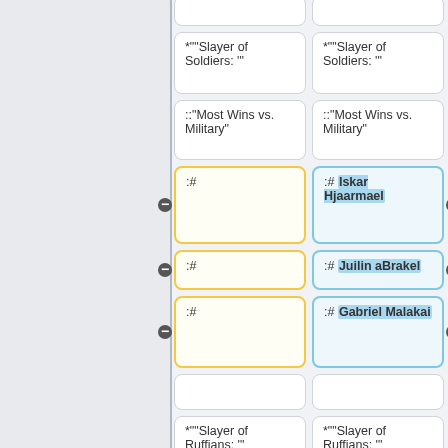[Figure (flowchart): A two-column diff/comparison view showing wiki-style markup cells. Left column has yellow-bordered cells (editable), right column has blue-bordered cells (with named content). Rows include: empty row, '*Slayer of Soldiers: ' cells, '::Most Wins vs. Military' cells, ':# (empty)' yellow vs ':# Iskar Hjaarmael' blue, ':# (empty)' yellow vs ':# Juilin aBrakel' blue, ':# (empty)' yellow vs ':# Gabriel Malakai' blue, empty row, '*Slayer of Ruffians: ' cells, '::Most Wins vs. Ruffians' cells, ':# (empty)' yellow vs ':# Ellowit' blue (partial).]